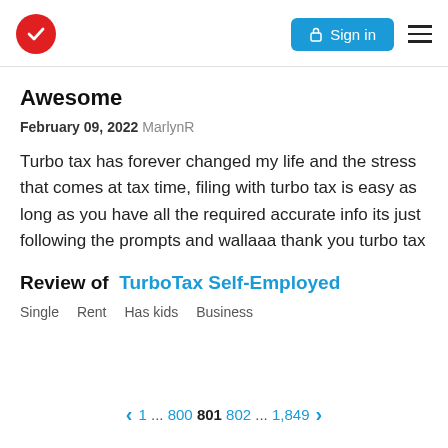[Figure (logo): Red circle with white checkmark logo and Sign in button and hamburger menu in header]
Awesome
February 09, 2022  MarlynR
Turbo tax has forever changed my life and the stress that comes at tax time, filing with turbo tax is easy as long as you have all the required accurate info its just following the prompts and wallaaa thank you turbo tax
Review of   TurboTax Self-Employed
Single   Rent   Has kids   Business
1 ... 800 801 802 ... 1,849